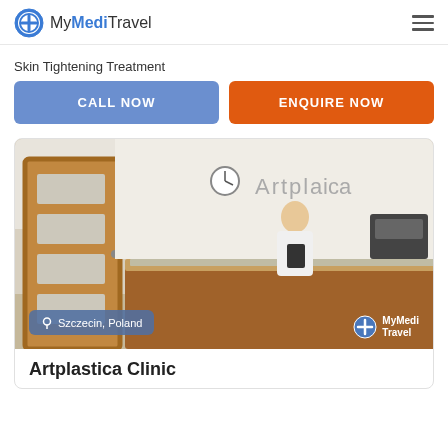MyMediTravel
Skin Tightening Treatment
CALL NOW
ENQUIRE NOW
[Figure (photo): Reception area of Artplastica Clinic showing a wooden door on the left, a reception desk with a staff member in white clothing holding a tablet, and the Artplastica logo on the wall behind. MyMediTravel watermark visible bottom right.]
Szczecin, Poland
Artplastica Clinic